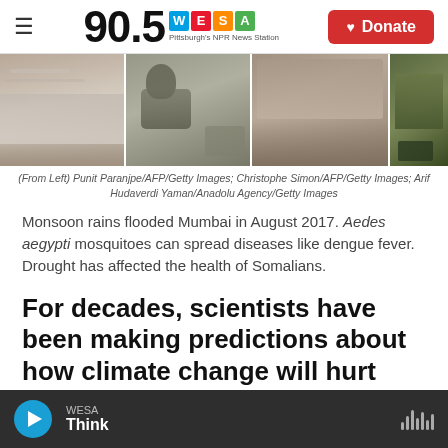90.5 WESA — Pittsburgh's NPR News Station | Donate
[Figure (photo): Three-panel photo strip: flooded street in Mumbai, close-up of Aedes aegypti mosquito, rushing floodwater with person in background]
(From Left) Punit Paranjpe/AFP/Getty Images; Christophe Simon/AFP/Getty Images; Arif Hudaverdi Yaman/Anadolu Agency/Getty Images
Monsoon rains flooded Mumbai in August 2017. Aedes aegypti mosquitoes can spread diseases like dengue fever. Drought has affected the health of Somalians.
For decades, scientists have been making predictions about how climate change will hurt health around the world.
But actually showing a link? That's been pretty
WESA — Think